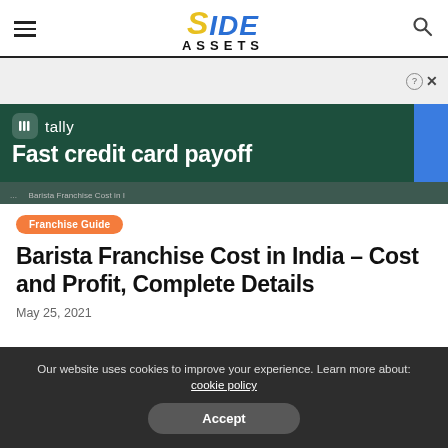SIDE ASSETS
[Figure (screenshot): Tally advertisement banner: 'Fast credit card payoff']
Franchise Guide
Barista Franchise Cost in India – Cost and Profit, Complete Details
May 25, 2021
Our website uses cookies to improve your experience. Learn more about: cookie policy
Accept